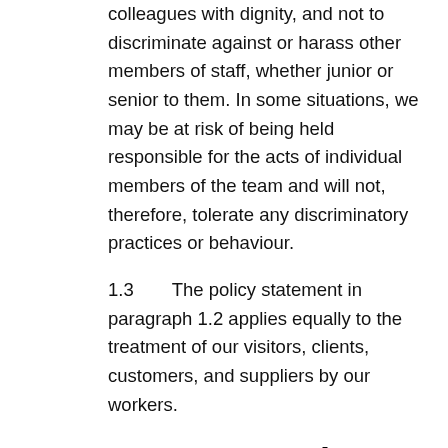colleagues with dignity, and not to discriminate against or harass other members of staff, whether junior or senior to them. In some situations, we may be at risk of being held responsible for the acts of individual members of the team and will not, therefore, tolerate any discriminatory practices or behaviour.
1.3    The policy statement in paragraph 1.2 applies equally to the treatment of our visitors, clients, customers, and suppliers by our workers.
2. Scope and purpose of this policy
2.1    We will not unlawfully discriminate on the grounds of gender, sexual orientation, marital or civil partner status, gender reassignment, race, religion or belief, colour, nationality, ethnic or national origin, disability or age, pregnancy, trade union membership, or part-time or fixed-term